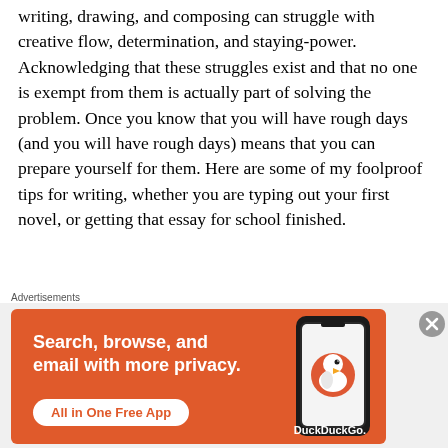writing, drawing, and composing can struggle with creative flow, determination, and staying-power. Acknowledging that these struggles exist and that no one is exempt from them is actually part of solving the problem. Once you know that you will have rough days (and you will have rough days) means that you can prepare yourself for them. Here are some of my foolproof tips for writing, whether you are typing out your first novel, or getting that essay for school finished.
WRITE EVEN WHEN IT'S HARD. I give myself this advice all the time, and it can be really hard to follow...
Advertisements
[Figure (infographic): DuckDuckGo advertisement banner on orange background with text 'Search, browse, and email with more privacy. All in One Free App' and a phone image showing the DuckDuckGo app.]